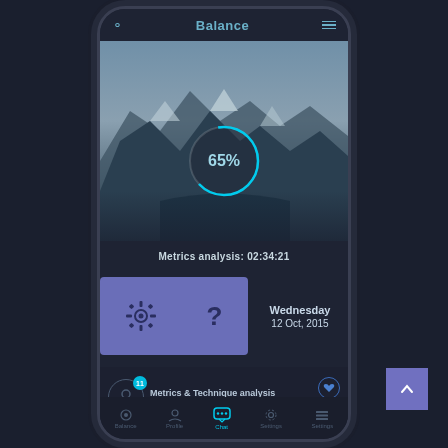Balance
[Figure (screenshot): Mobile app screenshot showing a balance/fitness tracking app with a mountain landscape hero image, a circular progress indicator showing 65%, metrics analysis time 02:34:21, a purple widget panel with settings and help icons, a date display showing Wednesday 12 Oct 2015, a notification card for Metrics & Technique analysis with count 41, and a bottom navigation bar with Balance, Profile, Chat (active), Settings, Settings tabs.]
Metrics analysis: 02:34:21
Wednesday
12 Oct, 2015
Metrics & Technique analysis
Sync your GoPro footage
41